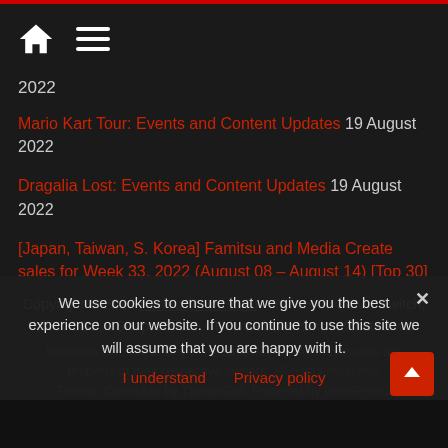Home | Menu
2022
Mario Kart Tour: Events and Content Updates 19 August 2022
Dragalia Lost: Events and Content Updates 19 August 2022
[Japan, Taiwan, S. Korea] Famitsu and Media Create sales for Week 33, 2022 (August 08 – August 14) [Top 30] 19 August 2022
Copyright © 2022 Perfectly Nintendo. - Nintendo news: Switch, Wii U, 3DS, eShop, Mobile - This website is not affiliated with Nintendo Co., Ltd or any of its subsidiaries. All trademarks are property of their respective owners. All rights reserved. Theme: ColorMag by ThemeGrill. Powered by WordPress.
We use cookies to ensure that we give you the best experience on our website. If you continue to use this site we will assume that you are happy with it.
I understand  Privacy policy